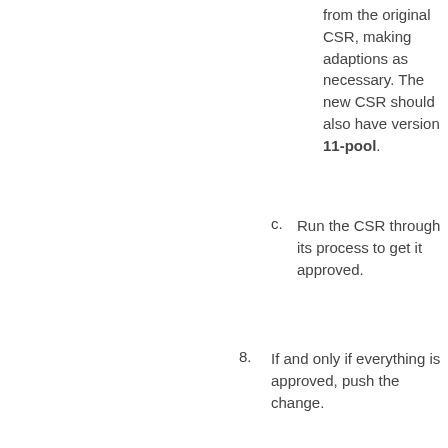c. from the original CSR, making adaptions as necessary. The new CSR should also have version 11-pool.
c. Run the CSR through its process to get it approved.
8. If and only if everything is approved, push the change.